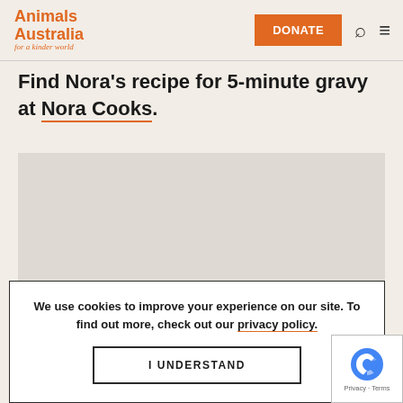Animals Australia for a kinder world | DONATE
Find Nora's recipe for 5-minute gravy at Nora Cooks.
[Figure (other): Light grey placeholder image area]
We use cookies to improve your experience on our site. To find out more, check out our privacy policy.
I UNDERSTAND